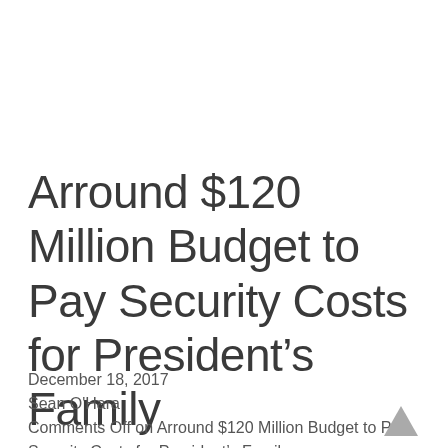Arround $120 Million Budget to Pay Security Costs for President’s Family
December 18, 2017
Sean O'Hara
Comments Off on Arround $120 Million Budget to Pay Security Costs for President’s Family